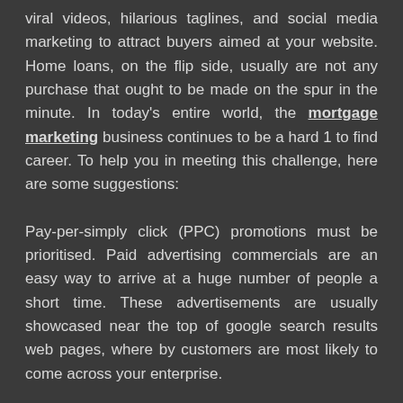viral videos, hilarious taglines, and social media marketing to attract buyers aimed at your website. Home loans, on the flip side, usually are not any purchase that ought to be made on the spur in the minute. In today's entire world, the mortgage marketing business continues to be a hard 1 to find career. To help you in meeting this challenge, here are some suggestions:
Pay-per-simply click (PPC) promotions must be prioritised. Paid advertising commercials are an easy way to arrive at a huge number of people a short time. These advertisements are usually showcased near the top of google search results web pages, where by customers are most likely to come across your enterprise.
A common misunderstanding about mortgage